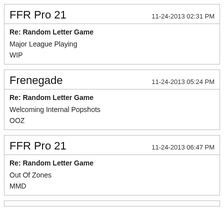FFR Pro 21
11-24-2013 02:31 PM
Re: Random Letter Game
Major League Playing
WIP
Frenegade
11-24-2013 05:24 PM
Re: Random Letter Game
Welcoming Internal Popshots
OOZ
FFR Pro 21
11-24-2013 06:47 PM
Re: Random Letter Game
Out Of Zones
MMD